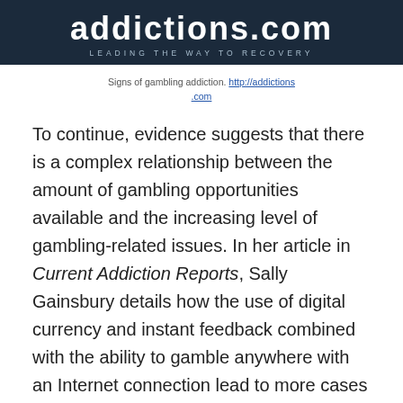[Figure (logo): addictions.com website header banner with dark navy background, large white text 'addictions.com' and subtitle 'LEADING THE WAY TO RECOVERY']
Signs of gambling addiction. http://addictions.com
To continue, evidence suggests that there is a complex relationship between the amount of gambling opportunities available and the increasing level of gambling-related issues. In her article in Current Addiction Reports, Sally Gainsbury details how the use of digital currency and instant feedback combined with the ability to gamble anywhere with an Internet connection lead to more cases of problematic and dangerous gambling. For services like Roobet, this form of overconsumption is dangerous not only for the users but also for the service as well. If a service is